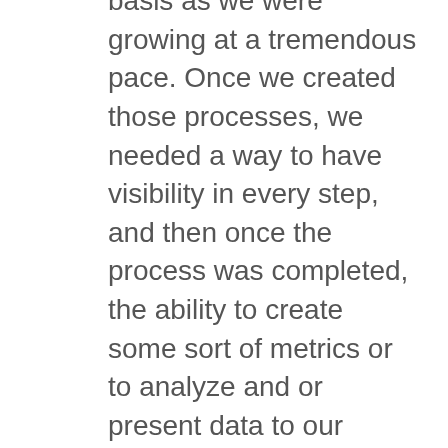basis as we were growing at a tremendous pace. Once we created those processes, we needed a way to have visibility in every step, and then once the process was completed, the ability to create some sort of metrics or to analyze and or present data to our executives as they made operational decisions.
So I guess it has to start somewhere, but over time we've just incrementally added functionality with OnBase to provide us with the tools to accomplish our HR work in a timely and